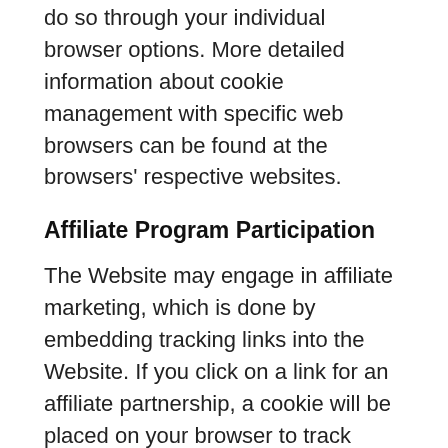do so through your individual browser options. More detailed information about cookie management with specific web browsers can be found at the browsers' respective websites.
Affiliate Program Participation
The Website may engage in affiliate marketing, which is done by embedding tracking links into the Website. If you click on a link for an affiliate partnership, a cookie will be placed on your browser to track some form of...